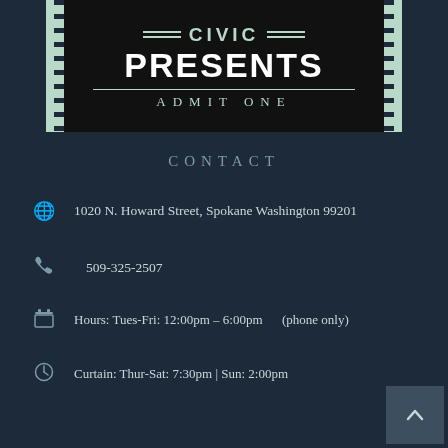[Figure (logo): Civic Presents ticket logo with mint-colored serrated edges, black background, CIVIC in mint bold letters with double lines, PRESENTS in large white bold text, horizontal divider, and ADMIT ONE in spaced serif letters]
CONTACT
1020 N. Howard Street, Spokane Washington 99201
509-325-2507
Hours: Tues-Fri: 12:00pm – 6:00pm     (phone only)
Curtain: Thur-Sat: 7:30pm | Sun: 2:00pm